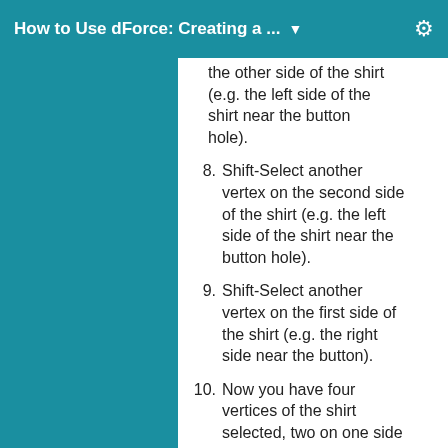How to Use dForce: Creating a ...
the other side of the shirt (e.g. the left side of the shirt near the button hole).
8. Shift-Select another vertex on the second side of the shirt (e.g. the left side of the shirt near the button hole).
9. Shift-Select another vertex on the first side of the shirt (e.g. the right side near the button).
10. Now you have four vertices of the shirt selected, two on one side of the shirt and two on